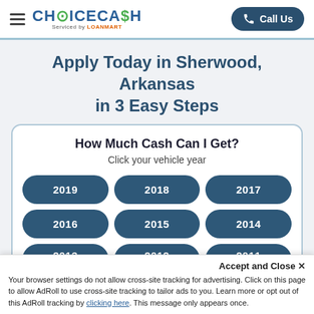ChoiceCash Serviced by LoanMart — Call Us
Apply Today in Sherwood, Arkansas in 3 Easy Steps
How Much Cash Can I Get?
Click your vehicle year
2019
2018
2017
2016
2015
2014
2013
2012
2011
Accept and Close ✕
Your browser settings do not allow cross-site tracking for advertising. Click on this page to allow AdRoll to use cross-site tracking to tailor ads to you. Learn more or opt out of this AdRoll tracking by clicking here. This message only appears once.